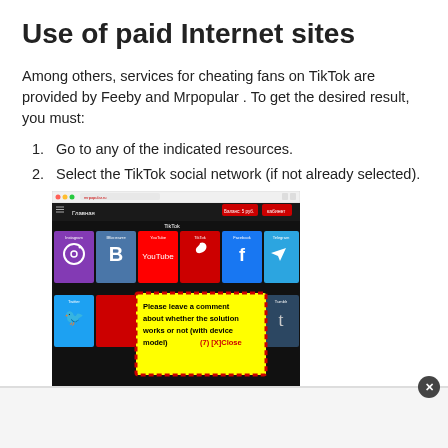Use of paid Internet sites
Among others, services for cheating fans on TikTok are provided by Feeby and Mrpopular . To get the desired result, you must:
Go to any of the indicated resources.
Select the TikTok social network (if not already selected).
[Figure (screenshot): Screenshot of a website (likely Mrpopular or Feeby) showing social network icons including Instagram, VKontakte, YouTube, TikTok, Facebook, Telegram, Twitter, and Tumblr. A yellow popup box with red dashed border reads: 'Please leave a comment about whether the solution works or not (with device model)  (7) [X]Close']